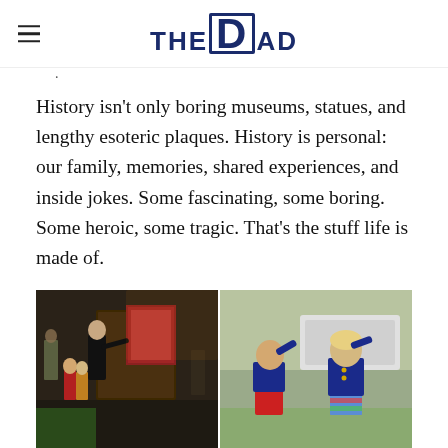THE DAD
History isn't only boring museums, statues, and lengthy esoteric plaques. History is personal: our family, memories, shared experiences, and inside jokes. Some fascinating, some boring. Some heroic, some tragic. That's the stuff life is made of.
[Figure (photo): Two photos side by side: Left photo shows an older man pointing at a museum display case with children nearby in a dark exhibition hall. Right photo shows two young children (a boy and a girl) saluting outdoors.]